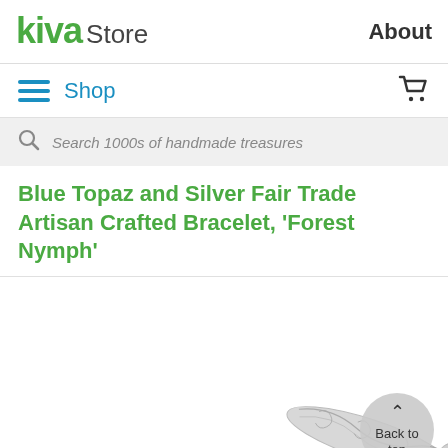kiva Store | About
Shop
Search 1000s of handmade treasures
Blue Topaz and Silver Fair Trade Artisan Crafted Bracelet, 'Forest Nymph'
[Figure (photo): Photo of a silver bracelet with engraved filigree pattern, displayed against white background. A 'Back to top' circular button overlays the image.]